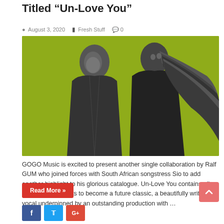Titled “Un-Love You”
August 3, 2020    Fresh Stuff    0
[Figure (photo): Two people standing back-to-back against a bright yellow-green background. A man in a dark hoodie on the left and a woman with elaborate braided hair and face paint on the right, both in black and white grayscale.]
GOGO Music is excited to present another single collaboration by Ralf GUM who joined forces with South African songstress Sio to add another highlight to his glorious catalogue. Un-Love You contains all the right ingredients to become a future classic, a beautifully written vocal underpinned by an outstanding production with …
Read More »